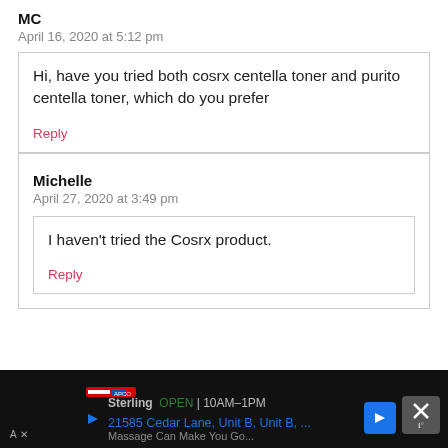MC
April 16, 2020 at 5:12 pm
Hi, have you tried both cosrx centella toner and purito centella toner, which do you prefer
Reply
Michelle
April 27, 2020 at 3:49 pm
I haven’t tried the Cosrx product.
Reply